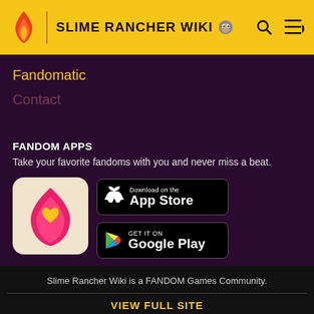SLIME RANCHER WIKI
Fandomatic
Contact
FANDOM APPS
Take your favorite fandoms with you and never miss a beat.
[Figure (logo): Fandom app icon: pink/red flame shape with yellow heart on cream background]
[Figure (screenshot): Download on the App Store button (black, rounded rectangle)]
[Figure (screenshot): GET IT ON Google Play button (black, rounded rectangle)]
Slime Rancher Wiki is a FANDOM Games Community.
VIEW FULL SITE